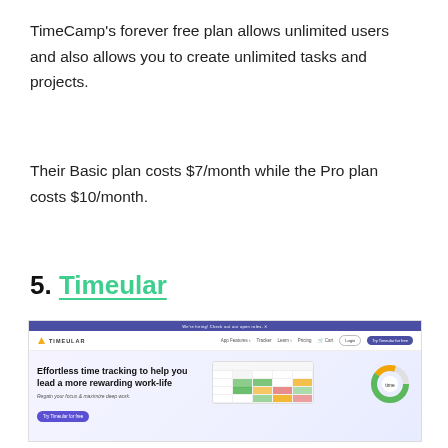TimeCamp's forever free plan allows unlimited users and also allows you to create unlimited tasks and projects.
Their Basic plan costs $7/month while the Pro plan costs $10/month.
5. Timeular
[Figure (screenshot): Screenshot of the Timeular website showing top navigation bar with logo, menu items (App Features, Tracker, Learn, Pricing, Cart, Login, Try Timeular for Free button), and hero section with headline 'Effortless time tracking to help you lead a more rewarding work-life', subtext 'Regain your focus & maximize deep work.', a 'Try Timeular for free' button, and a dashboard graphic with a calendar/time tracking grid and a donut chart.]